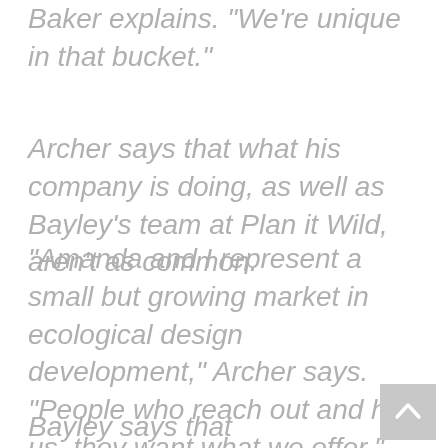Baker explains. “We’re unique in that bucket.”
Archer says that what his company is doing, as well as Bayley’s team at Plan it Wild, aren’t as common.
“Amanda and I represent a small but growing market in ecological design development,” Archer says. “People who reach out and hire us, they want what we offer.”
Bayley says that while ecological